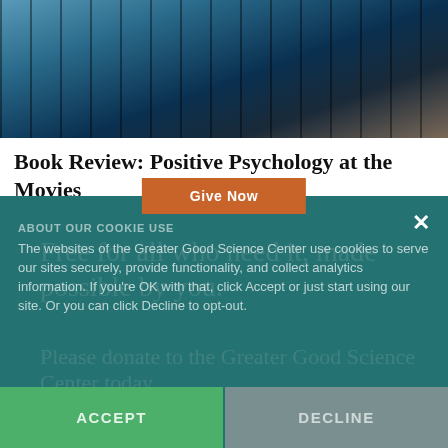[Figure (photo): Film strip / cinematic blue-toned header image]
Book Review: Positive Psychology at the Movies
BY JEREMY ADAM SMITH
DECEMBER 1, 2008
Free for all who need it, made possible by you.
Please donate to the Greater Good Science Center today.
ABOUT OUR COOKIE USE
The websites of the Greater Good Science Center use cookies to serve our sites securely, provide functionality, and collect analytics information. If you're OK with that, click Accept or just start using our site. Or you can click Decline to opt-out.
Give Now
ACCEPT
DECLINE